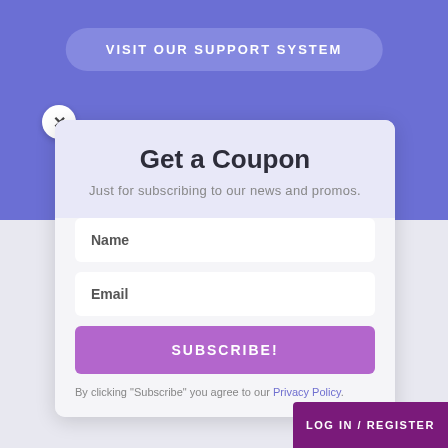[Figure (screenshot): Purple header background with support system button]
VISIT OUR SUPPORT SYSTEM
Get a Coupon
Just for subscribing to our news and promos.
How Do I Get Started?
Name
Email
SUBSCRIBE!
By clicking "Subscribe" you agree to our Privacy Policy.
LOG IN / REGISTER